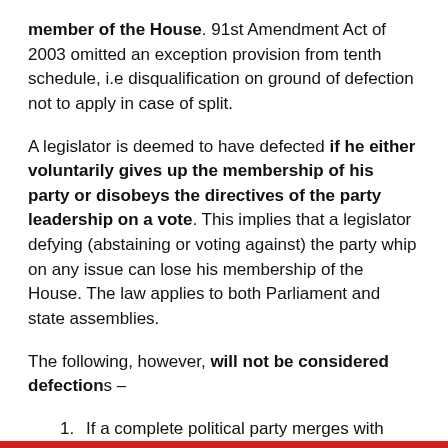member of the House. 91st Amendment Act of 2003 omitted an exception provision from tenth schedule, i.e disqualification on ground of defection not to apply in case of split.
A legislator is deemed to have defected if he either voluntarily gives up the membership of his party or disobeys the directives of the party leadership on a vote. This implies that a legislator defying (abstaining or voting against) the party whip on any issue can lose his membership of the House. The law applies to both Parliament and state assemblies.
The following, however, will not be considered defections –
If a complete political party merges with another political party.